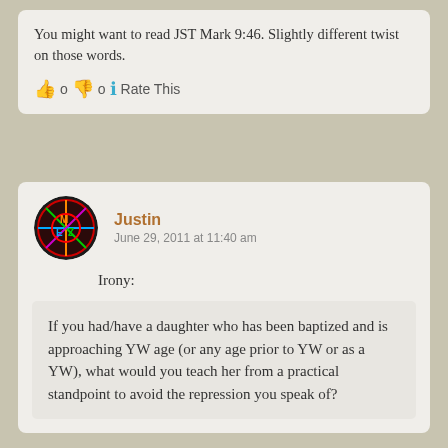You might want to read JST Mark 9:46. Slightly different twist on those words.
👍 0 👎 0 ℹ Rate This
Justin
June 29, 2011 at 11:40 am
Irony:
If you had/have a daughter who has been baptized and is approaching YW age (or any age prior to YW or as a YW), what would you teach her from a practical standpoint to avoid the repression you speak of?